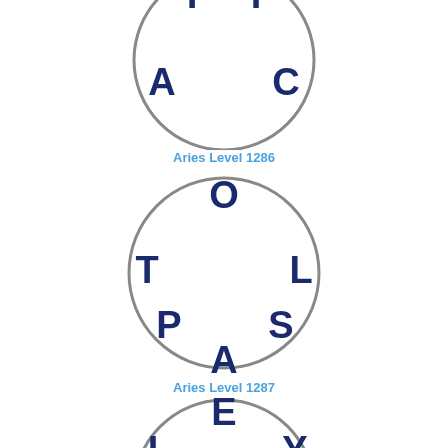[Figure (illustration): Circle puzzle level 1286 with letters T, I at top, A on left, C on right arranged in a circle]
Aries Level 1286
[Figure (illustration): Circle puzzle level 1287 with letters O at top, T on left, L on right, P lower left, S lower right, A at bottom arranged in a circle]
Aries Level 1287
[Figure (illustration): Circle puzzle level 1288 with letters E at top, I upper left, Y upper right, L lower left, P lower right arranged in a circle (partially visible)]